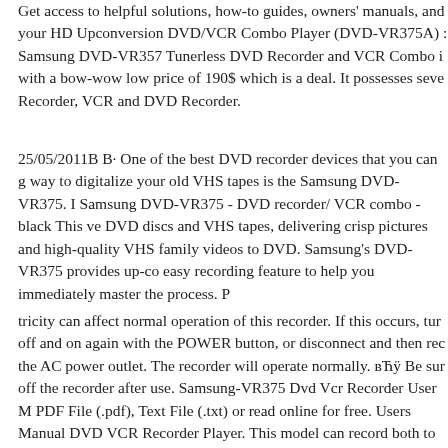Get access to helpful solutions, how-to guides, owners' manuals, and your HD Upconversion DVD/VCR Combo Player (DVD-VR375A) Samsung DVD-VR357 Tunerless DVD Recorder and VCR Combo i with a bow-wow low price of 190$ which is a deal. It possesses seve Recorder, VCR and DVD Recorder.
25/05/2011В В· One of the best DVD recorder devices that you can g way to digitalize your old VHS tapes is the Samsung DVD-VR375. I Samsung DVD-VR375 - DVD recorder/ VCR combo - black This ve DVD discs and VHS tapes, delivering crisp pictures and high-quality VHS family videos to DVD. Samsung's DVD-VR375 provides up-co easy recording feature to help you immediately master the process. P
tricity can affect normal operation of this recorder. If this occurs, tur off and on again with the POWER button, or disconnect and then rec the AC power outlet. The recorder will operate normally. вЋÿ Be sur off the recorder after use. Samsung-VR375 Dvd Vcr Recorder User M PDF File (.pdf), Text File (.txt) or read online for free. Users Manual DVD VCR Recorder Player. This model can record both to DVDs an